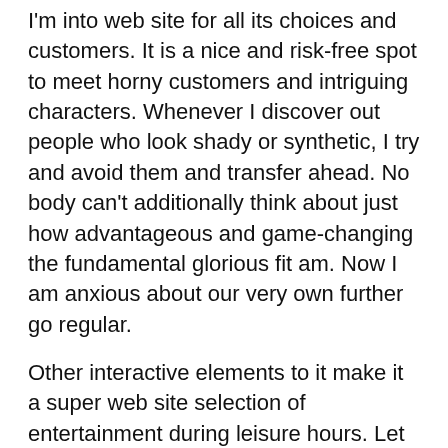I'm into web site for all its choices and customers. It is a nice and risk-free spot to meet horny customers and intriguing characters. Whenever I discover out people who look shady or synthetic, I try and avoid them and transfer ahead. No body can't additionally think about just how advantageous and game-changing the fundamental glorious fit am. Now I am anxious about our very own further go regular.
Other interactive elements to it make it a super web site selection of entertainment during leisure hours. Let me introduce, DirtyRoulette, a sex chat website that offers one of the best venue to all of your dirtiest, kinkiest, sluttiest needs. DirtyRoulette provides an expertise that you could only think